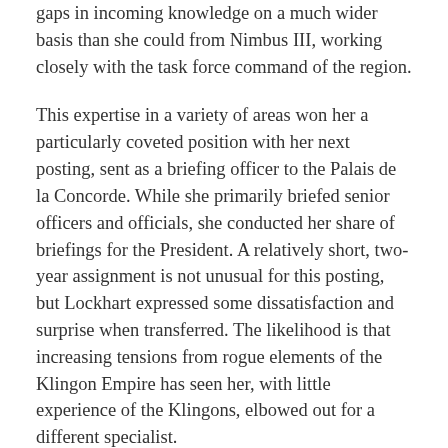gaps in incoming knowledge on a much wider basis than she could from Nimbus III, working closely with the task force command of the region.
This expertise in a variety of areas won her a particularly coveted position with her next posting, sent as a briefing officer to the Palais de la Concorde. While she primarily briefed senior officers and officials, she conducted her share of briefings for the President. A relatively short, two-year assignment is not unusual for this posting, but Lockhart expressed some dissatisfaction and surprise when transferred. The likelihood is that increasing tensions from rogue elements of the Klingon Empire has seen her, with little experience of the Klingons, elbowed out for a different specialist.
However, her skills in developing and rebuilding intelligence networks granted her a not-